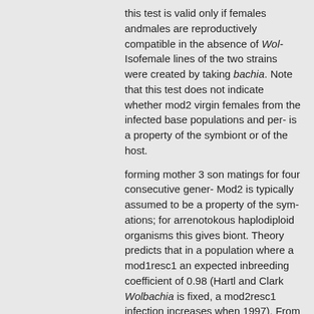this test is valid only if females andmales are reproductively compatible in the absence of Wolbachia. Isofemale lines of the two strains were created by taking bachia. Note that this test does not indicate whether mod2 virgin females from the infected base populations and per- is a property of the symbiont or of the host.
forming mother 3 son matings for four consecutive gener- Mod2 is typically assumed to be a property of the sym- ations; for arrenotokous haplodiploid organisms this gives biont. Theory predicts that in a population where a mod1resc1 an expected inbreeding coefficient of 0.98 (Hartl and Clark Wolbachia is fixed, a mod2resc1 infection increases when 1997). From each inbred isofemale line an uninfected coun- rare, if it inflicts a cost to the infected female that is lower terpart was created either by tetracycline curing as described than the cost imposed by the resident type of infection (Prout by Breeuwer (1997) or by heat treatment as described by Van 1994; Turelli 1994; Hurst and McVean 1996). However, if Opijnen and Breeuwer